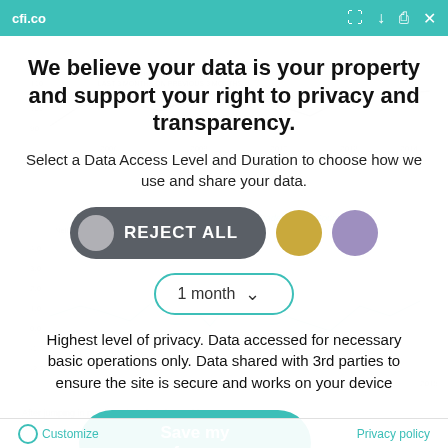cfi.co
We believe your data is your property and support your right to privacy and transparency.
Select a Data Access Level and Duration to choose how we use and share your data.
[Figure (infographic): Three buttons: REJECT ALL (dark grey pill with grey circle), gold circle, lavender circle; and a 1 month dropdown selector]
Highest level of privacy. Data accessed for necessary basic operations only. Data shared with 3rd parties to ensure the site is secure and works on your device
Save my preferences
Customize    Privacy policy